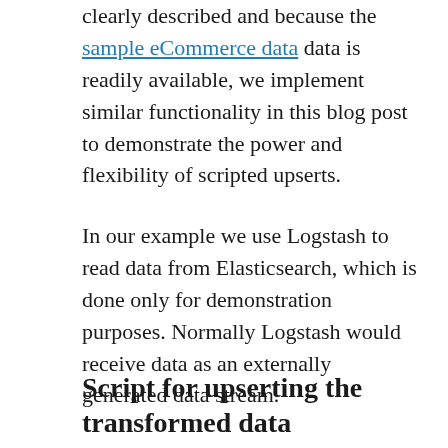clearly described and because the sample eCommerce data data is readily available, we implement similar functionality in this blog post to demonstrate the power and flexibility of scripted upserts.
In our example we use Logstash to read data from Elasticsearch, which is done only for demonstration purposes. Normally Logstash would receive data as an externally generated data stream.
Script for upserting the transformed data